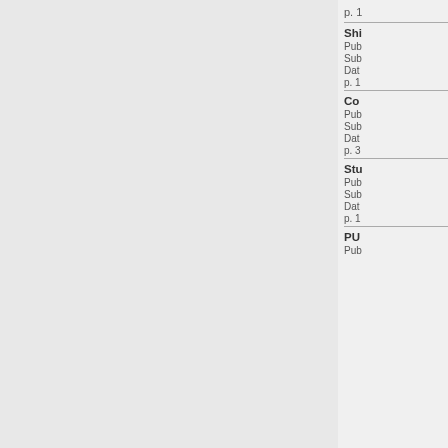p. 1
Shi
Pub
Sub
Dat
p. 1
Co
Pub
Sub
Dat
p. 3
Stu
Pub
Sub
Dat
p. 1
PU
Pub